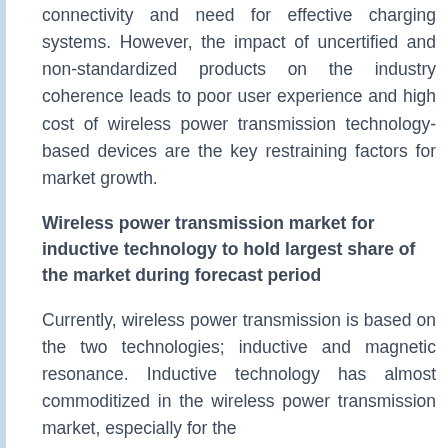connectivity and need for effective charging systems. However, the impact of uncertified and non-standardized products on the industry coherence leads to poor user experience and high cost of wireless power transmission technology-based devices are the key restraining factors for market growth.
Wireless power transmission market for inductive technology to hold largest share of the market during forecast period
Currently, wireless power transmission is based on the two technologies; inductive and magnetic resonance. Inductive technology has almost commoditized in the wireless power transmission market, especially for the